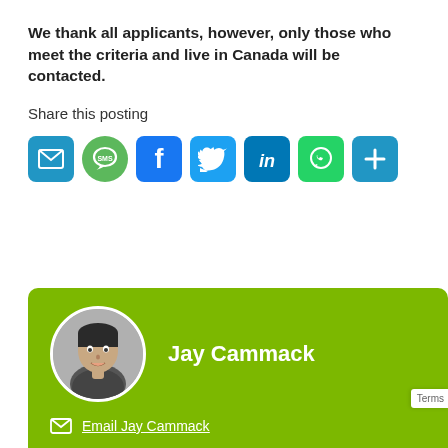We thank all applicants, however, only those who meet the criteria and live in Canada will be contacted.
Share this posting
[Figure (infographic): Row of social sharing icon buttons: Email (blue envelope), SMS (green speech bubble), Facebook (blue f), Twitter (blue bird), LinkedIn (blue in), WhatsApp (green phone), More (blue plus)]
[Figure (photo): Green card with circular black and white headshot photo of Jay Cammack, his name in white bold text, and an 'Email Jay Cammack' link with envelope icon below]